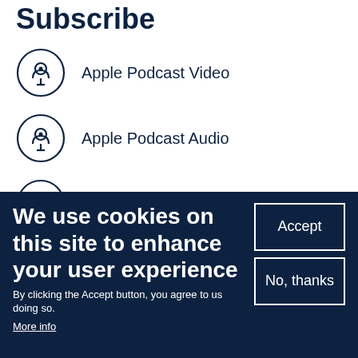Subscribe
Apple Podcast Video
Apple Podcast Audio
Audio RSS Feed
We use cookies on this site to enhance your user experience
By clicking the Accept button, you agree to us doing so.
More info